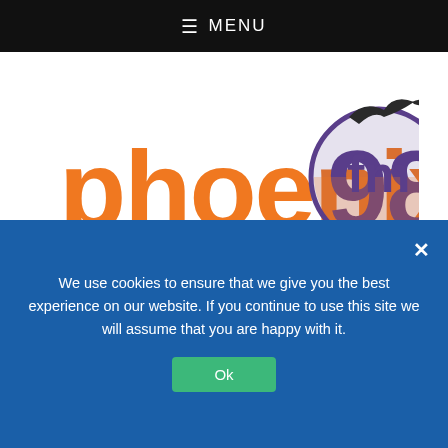☰ MENU
[Figure (logo): Phoenix 98fm logo — orange text 'phoenix98' with purple 'fm' and a seagull inside a purple/orange circle]
[Figure (logo): Gateway 97.8 logo — red text 'GATEWAY 97.8' inside a red rounded rectangle border, with italic text 'from the heart of Eastgate' above]
We use cookies to ensure that we give you the best experience on our website. If you continue to use this site we will assume that you are happy with it.
Ok